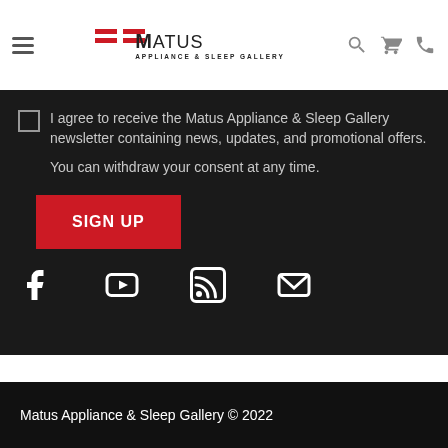Matus Appliance & Sleep Gallery — navigation header with logo, search, cart, and phone icons
I agree to receive the Matus Appliance & Sleep Gallery newsletter containing news, updates, and promotional offers.
You can withdraw your consent at any time.
SIGN UP
[Figure (infographic): Social media icons row: Facebook, YouTube, RSS feed, Email]
Matus Appliance & Sleep Gallery © 2022